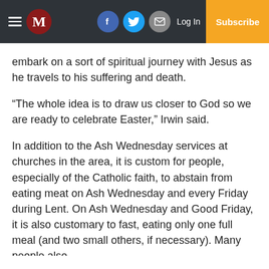M | Log In | Subscribe | Facebook | Twitter | Email
embark on a sort of spiritual journey with Jesus as he travels to his suffering and death.
“The whole idea is to draw us closer to God so we are ready to celebrate Easter,” Irwin said.
In addition to the Ash Wednesday services at churches in the area, it is custom for people, especially of the Catholic faith, to abstain from eating meat on Ash Wednesday and every Friday during Lent. On Ash Wednesday and Good Friday, it is also customary to fast, eating only one full meal (and two small others, if necessary). Many people also